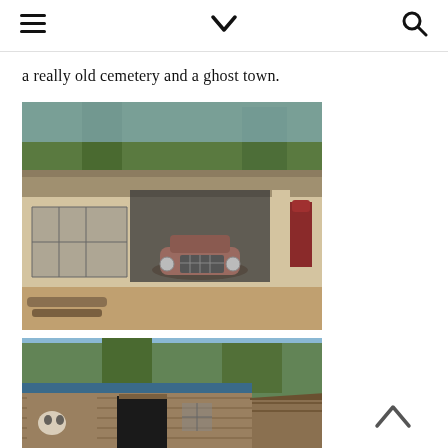☰ ⌄ 🔍
a really old cemetery and a ghost town.
[Figure (photo): An old weathered wooden building resembling an abandoned gas station or garage, with a rusted vintage automobile parked inside the open bay. Large multi-pane windows on the left side, an old red gas pump on the right, surrounded by dirt and logs. Pine trees visible in the background.]
[Figure (photo): A rustic wooden shed or building with a small mural painted on the exterior wall, an open doorway in the center, a small window to the right, and a lean-to addition on the far right. Pine trees visible in the background under a partly cloudy sky.]